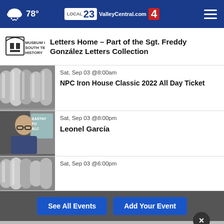78° ValleyCentral.com Local 23/4
[Figure (logo): Museum of South Texas History logo]
Letters Home – Part of the Sgt. Freddy González Letters Collection
[Figure (photo): Metal cylinders/gun barrels close-up photo]
Sat, Sep 03 @8:00am
NPC Iron House Classic 2022 All Day Ticket
[Figure (photo): Man with glasses in front of sign reading EASTNY FU ELC]
Sat, Sep 03 @8:00pm
Leonel García
[Figure (photo): Metal cylinders/gun barrels close-up photo]
Sat, Sep 03 @6:00pm
See All Events | Add Your Event
[Figure (infographic): Advertisement: Customize Your Produce Box – Grande Produce]